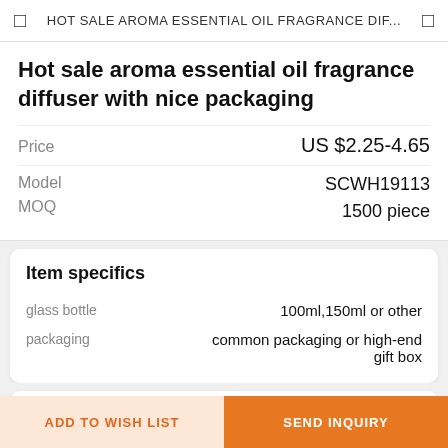HOT SALE AROMA ESSENTIAL OIL FRAGRANCE DIF...
Hot sale aroma essential oil fragrance diffuser with nice packaging
| Field | Value |
| --- | --- |
| Price | US $2.25-4.65 |
| Model | SCWH19113 |
| MOQ | 1500 piece |
Item specifics
| Attribute | Value |
| --- | --- |
| glass bottle | 100ml,150ml or other |
| packaging | common packaging or high-end gift box |
Review
MORE ›